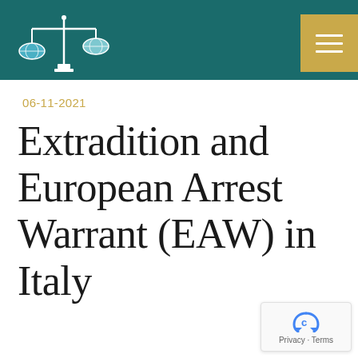[Figure (logo): Scales of justice logo with globe icons on each pan, white outline on teal background — law firm or legal service branding]
06-11-2021
Extradition and European Arrest Warrant (EAW) in Italy
[Figure (other): reCAPTCHA badge widget showing recycling-arrow icon and 'Privacy - Terms' text]